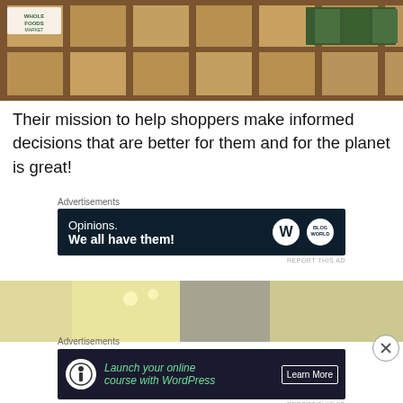[Figure (photo): Interior of Whole Foods Market store showing wooden shelving units with products]
Their mission to help shoppers make informed decisions that are better for them and for the planet is great!
Advertisements
[Figure (other): Advertisement banner: Opinions. We all have them! with WordPress and Blog World logos]
REPORT THIS AD
[Figure (photo): Interior retail store photo with yellow-green and gray decor]
Advertisements
[Figure (other): Advertisement banner: Launch your online course with WordPress - Learn More button]